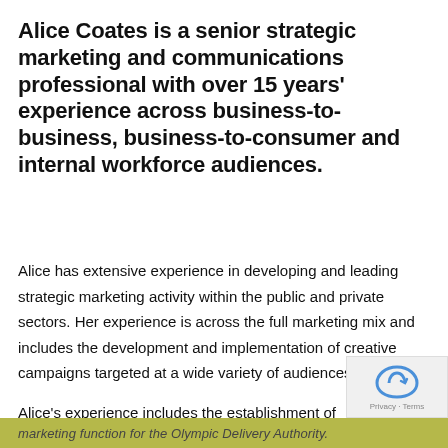Alice Coates is a senior strategic marketing and communications professional with over 15 years' experience across business-to-business, business-to-consumer and internal workforce audiences.
Alice has extensive experience in developing and leading strategic marketing activity within the public and private sectors. Her experience is across the full marketing mix and includes the development and implementation of creative campaigns targeted at a wide variety of audiences.
Alice's experience includes the establishment of a marketing function for the Olympic Delivery Authority.
marketing function for the Olympic Delivery Authority.